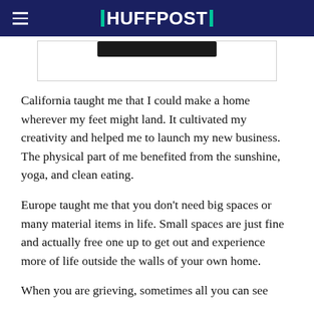HUFFPOST
[Figure (photo): Partial image with a dark bar visible at the top, inside a bordered rectangle placeholder]
California taught me that I could make a home wherever my feet might land. It cultivated my creativity and helped me to launch my new business. The physical part of me benefited from the sunshine, yoga, and clean eating.
Europe taught me that you don't need big spaces or many material items in life. Small spaces are just fine and actually free one up to get out and experience more of life outside the walls of your own home.
When you are grieving, sometimes all you can see